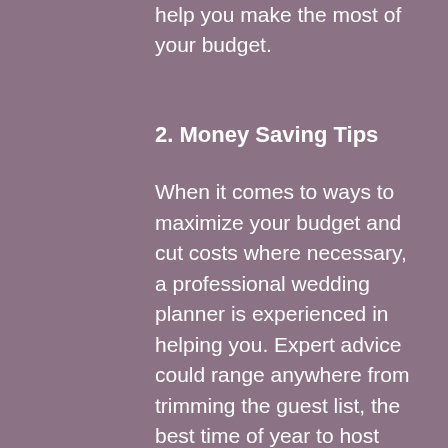help you make the most of your budget.
2. Money Saving Tips
When it comes to ways to maximize your budget and cut costs where necessary, a professional wedding planner is experienced in helping you. Expert advice could range anywhere from trimming the guest list, the best time of year to host your wedding, or even the best day to rent the venue. Offering expert advice on money-saving tips is also on our list of 5 Tips on How Hiring a Wedding Planner Can Save You Money.